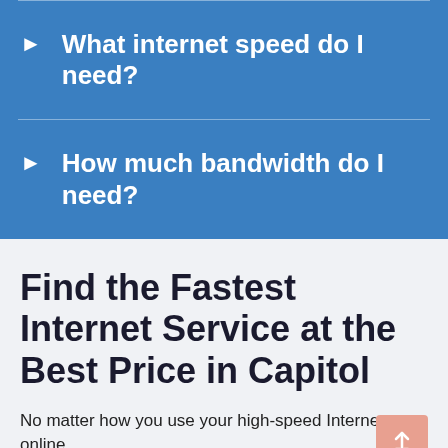What internet speed do I need?
How much bandwidth do I need?
Find the Fastest Internet Service at the Best Price in Capitol
No matter how you use your high-speed Internet – online